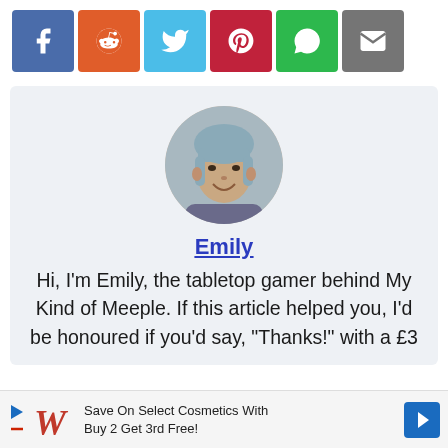[Figure (infographic): Social sharing buttons row: Facebook (blue), Reddit (orange), Twitter (light blue), Pinterest (dark red), WhatsApp (green), Email (grey)]
[Figure (photo): Circular profile photo of Emily, a woman with blue-grey hair, smiling]
Emily
Hi, I'm Emily, the tabletop gamer behind My Kind of Meeple. If this article helped you, I'd be honoured if you'd say, "Thanks!" with a £3
[Figure (infographic): Advertisement banner: Walgreens logo with text 'Save On Select Cosmetics With Buy 2 Get 3rd Free!' and a blue direction arrow icon]